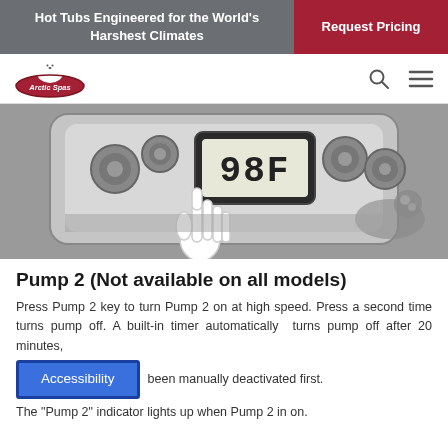Hot Tubs Engineered for the World's Harshest Climates | Request Pricing
[Figure (logo): Arctic Spas logo with polar bear on red oval]
[Figure (photo): Black and white photo of hot tub control panel showing 98F temperature display with a hand cursor pointing at buttons, and a dog visible in the background water]
Pump 2 (Not available on all models)
Press Pump 2 key to turn Pump 2 on at high speed. Press a second time turns pump off. A built-in timer automatically turns pump off after 20 minutes, unless it has been manually deactivated first. The "Pump 2" indicator lights up when Pump 2 in on.